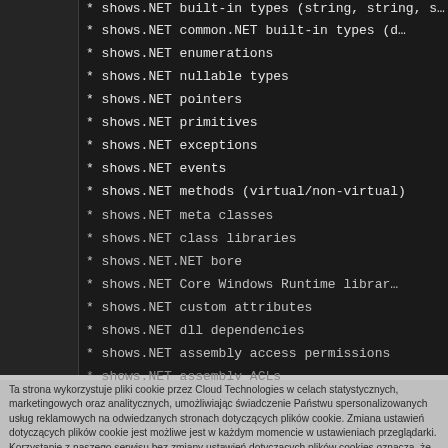* shows.NET built-in types (string, string, s...
* shows.NET common.NET built-in types (d...
* shows.NET enumerations
* shows.NET nullable types
* shows.NET pointers
* shows.NET primitives
* shows.NET exceptions
* shows.NET events
* shows.NET methods (virtual/non-virtual)
* shows.NET meta classes
* shows.NET class libraries
* shows.NET.NET bore
* shows.NET Core Windows Runtime librar...
* shows.NET custom attributes
* shows.NET dll dependencies
* shows.NET assembly access permissions
* shows.NET assembly ACLs
* shows.NET Assembly security...
* shows.NET assembly dependencies
* shows.NET assembly manifest Metadata
* shows.NET class dependency
* shows.NET CLR runtime types
* shows.NET COM classes
* shows.NET exception codes
* shows.NET exception messages
Ta strona wykorzystuje pliki cookie przez Cloud Technologies w celach statystycznych, marketingowych oraz analitycznych, umożliwiając świadczenie Państwu spersonalizowanych usług reklamowych na odwiedzanych stronach dotyczących plików cookie. Zmiana ustawień dotyczących plików cookie jest możliwe jest w każdym momencie w ustawieniach przeglądarki. Korzystanie z naszego serwisu bez zmiany ustawień dotyczących plików cookies oznacza, że pliki cookies będą umieszczane w Państwa urządzeniu końcowym. Więcej informacji dotyczących wykorzystania plików cookies znajdziecie Państwo w naszej Polityce Prywatności.